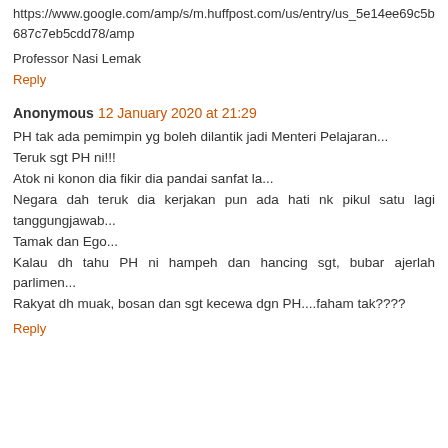https://www.google.com/amp/s/m.huffpost.com/us/entry/us_5e14ee69c5b687c7eb5cdd78/amp
Professor Nasi Lemak
Reply
Anonymous 12 January 2020 at 21:29
PH tak ada pemimpin yg boleh dilantik jadi Menteri Pelajaran...
Teruk sgt PH ni!!!
Atok ni konon dia fikir dia pandai sanfat la...
Negara dah teruk dia kerjakan pun ada hati nk pikul satu lagi tanggungjawab...
Tamak dan Ego...
Kalau dh tahu PH ni hampeh dan hancing sgt, bubar ajerlah parlimen...
Rakyat dh muak, bosan dan sgt kecewa dgn PH....faham tak????
Reply